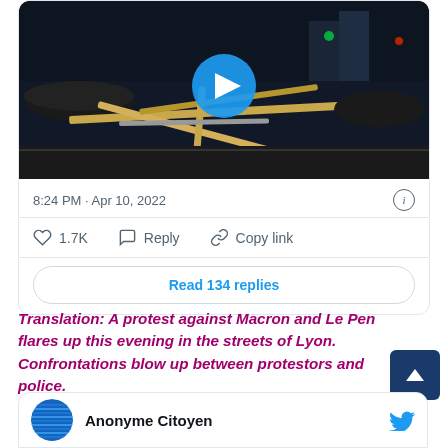[Figure (screenshot): Tweet card showing a night protest video thumbnail with a play button, timestamp '8:24 PM · Apr 10, 2022', like count 1.7K, Reply, Copy link actions, and 'Read 134 replies' button]
Translation: A protest against Macron and Le Pen flares up this evening in the streets of Lyon. Confrontations blow up between protestors and police.
[Figure (screenshot): Partial tweet card showing user avatar and name 'Anonyme Citoyen' with Twitter bird icon]